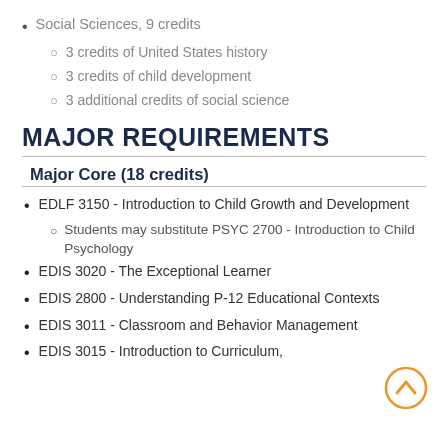Social Sciences, 9 credits
3 credits of United States history
3 credits of child development
3 additional credits of social science
MAJOR REQUIREMENTS
Major Core (18 credits)
EDLF 3150 - Introduction to Child Growth and Development
Students may substitute PSYC 2700 - Introduction to Child Psychology
EDIS 3020 - The Exceptional Learner
EDIS 2800 - Understanding P-12 Educational Contexts
EDIS 3011 - Classroom and Behavior Management
EDIS 3015 - Introduction to Curriculum,